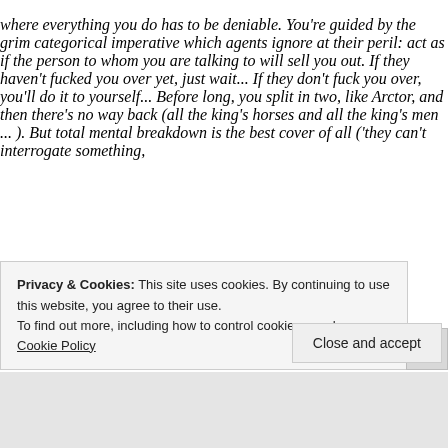where everything you do has to be deniable. You're guided by the grim categorical imperative which agents ignore at their peril: act as if the person to whom you are talking to will sell you out. If they haven't fucked you over yet, just wait... If they don't fuck you over, you'll do it to yourself... Before long, you split in two, like Arctor, and then there's no way back (all the king's horses and all the king's men ... ). But total mental breakdown is the best cover of all ('they can't interrogate something,
Privacy & Cookies: This site uses cookies. By continuing to use this website, you agree to their use.
To find out more, including how to control cookies, see here: Cookie Policy
Close and accept